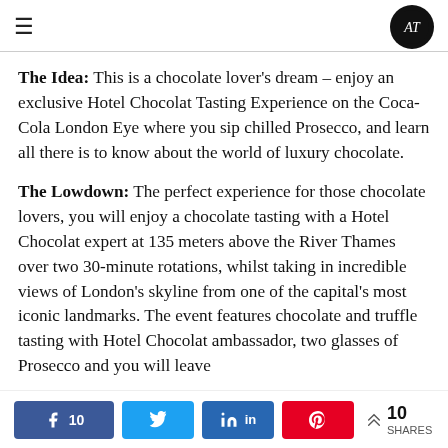≡  [AT logo]
The Idea: This is a chocolate lover's dream – enjoy an exclusive Hotel Chocolat Tasting Experience on the Coca-Cola London Eye where you sip chilled Prosecco, and learn all there is to know about the world of luxury chocolate.
The Lowdown: The perfect experience for those chocolate lovers, you will enjoy a chocolate tasting with a Hotel Chocolat expert at 135 meters above the River Thames over two 30-minute rotations, whilst taking in incredible views of London's skyline from one of the capital's most iconic landmarks. The event features chocolate and truffle tasting with Hotel Chocolat ambassador, two glasses of Prosecco and you will leave
10 [Facebook] [Twitter] [LinkedIn] [Pinterest] < 10 SHARES